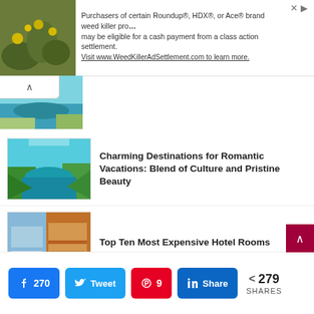[Figure (infographic): Ad banner: weed killer class action settlement ad with plant image on left, text on right]
Purchasers of certain Roundup®, HDX®, or Ace® brand weed killer products may be eligible for a cash payment from a class action settlement. Visit www.WeedKillerAdSettlement.com to learn more.
[Figure (photo): Partial turquoise water aerial view thumbnail]
[Figure (photo): Turquoise cove with cliffs and green hillside - romantic destination]
Charming Destinations for Romantic Vacations: Blend of Culture and Pristine Beauty
[Figure (photo): Luxury hotel room with ocean view and warm interior]
Top Ten Most Expensive Hotel Rooms
[Figure (photo): Tropical Bali villa nestled in lush jungle greenery]
Best Places to Visit in Bali – Mount Batur, Ubud, Jimbaran and Lovina
270 shares on Facebook, Tweet on Twitter, 9 saves on Pinterest, Share on LinkedIn, 279 SHARES total